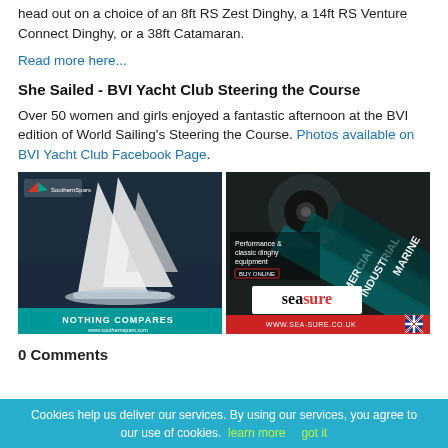head out on a choice of an 8ft RS Zest Dinghy, a 14ft RS Venture Connect Dinghy, or a 38ft Catamaran.
Read more here...
She Sailed - BVI Yacht Club Steering the Course
Over 50 women and girls enjoyed a fantastic afternoon at the BVI edition of World Sailing's Steering the Course. Photos available on BVI Yacht Club Facebook Page.
[Figure (photo): Southern Spars advertisement showing a sailing yacht with white sails on dark water. Text reads 'NOTHING COMPARES' and 'www.southernspars.com' with SouthernSpars logo.]
[Figure (photo): Sea-sure advertisement showing dinghy equipment hardware with text 'Performance & classic dinghy equipment', 'BUY ONLINE', and words COMMERCIAL, INDUSTRIAL, MARINE. Bottom bar shows 'seasure' logo and 'WWW.SEA-SURE.CO.UK' with UK flag.]
0 Comments
Cookies help us deliver our services. By using our services, you agree to our use of cookies. learn more   got it